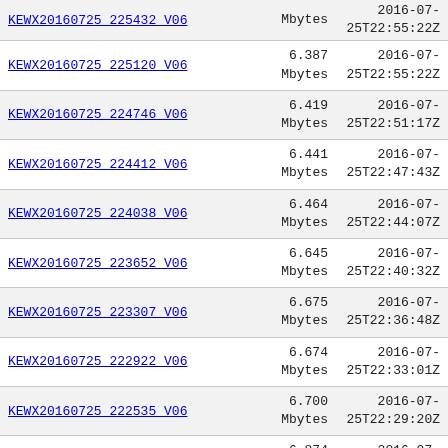| Name | Size | Date |
| --- | --- | --- |
| KEWX20160725_225432_V06 | Mbytes | 2016-07-25T22:55:22Z |
| KEWX20160725_225120_V06 | 6.387 Mbytes | 2016-07-25T22:55:22Z |
| KEWX20160725_224746_V06 | 6.419 Mbytes | 2016-07-25T22:51:17Z |
| KEWX20160725_224412_V06 | 6.441 Mbytes | 2016-07-25T22:47:43Z |
| KEWX20160725_224038_V06 | 6.464 Mbytes | 2016-07-25T22:44:07Z |
| KEWX20160725_223652_V06 | 6.645 Mbytes | 2016-07-25T22:40:32Z |
| KEWX20160725_223307_V06 | 6.675 Mbytes | 2016-07-25T22:36:48Z |
| KEWX20160725_222922_V06 | 6.674 Mbytes | 2016-07-25T22:33:01Z |
| KEWX20160725_222535_V06 | 6.700 Mbytes | 2016-07-25T22:29:20Z |
| KEWX20160725_222135_V06 | 6.874 Mbytes | 2016-07-25T22:25:32Z |
| KEWX20160725_221735_V06 | 6.886 Mbytes | 2016-07-25T22:21:30Z |
| KEWX20160725_221334_V06 | 6.898 Mbytes | 2016-07-25T22:17:32Z |